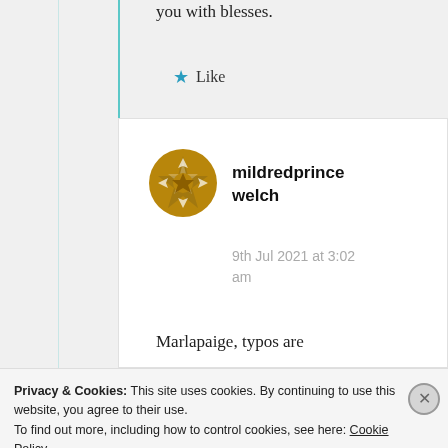you with blesses.
Like
mildredprince welch
9th Jul 2021 at 3:02 am
Marlapaige, typos are
Privacy & Cookies: This site uses cookies. By continuing to use this website, you agree to their use. To find out more, including how to control cookies, see here: Cookie Policy
Close and accept